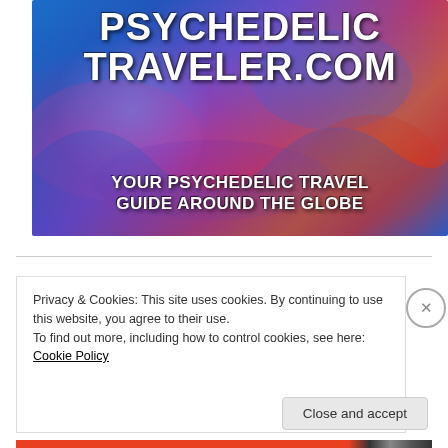[Figure (illustration): Psychedelic banner image with colorful swirling landscape and a reclining figure, featuring the text PSYCHEDELIC TRAVELER.COM and YOUR PSYCHEDELIC TRAVEL GUIDE AROUND THE GLOBE]
Privacy & Cookies: This site uses cookies. By continuing to use this website, you agree to their use.
To find out more, including how to control cookies, see here: Cookie Policy
Close and accept